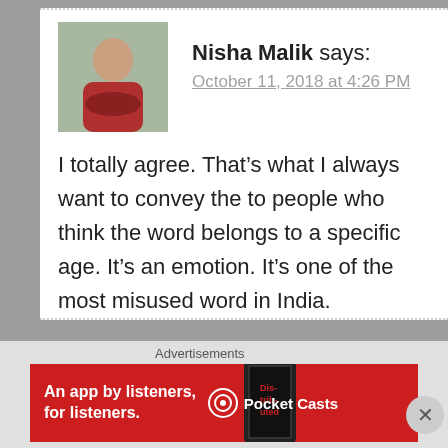[Figure (photo): Profile photo of Nisha Malik, a woman in red traditional dress seated outdoors]
Nisha Malik says:
October 11, 2018 at 4:26 PM
I totally agree. That’s what I always want to convey the to people who think the word belongs to a specific age. It’s an emotion. It’s one of the most misused word in India.
★ Like
Reply
Advertisements
[Figure (screenshot): Pocket Casts advertisement banner: red background with text 'An app by listeners, for listeners.' and Pocket Casts logo with phone graphic showing 'Distributed' text]